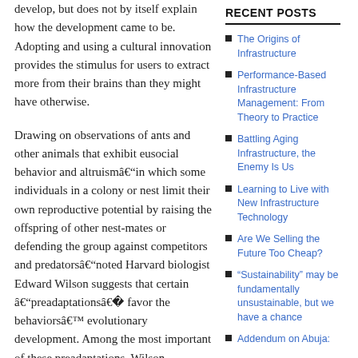develop, but does not by itself explain how the development came to be. Adopting and using a cultural innovation provides the stimulus for users to extract more from their brains than they might have otherwise.
Drawing on observations of ants and other animals that exhibit eusocial behavior and altruismâ€“in which some individuals in a colony or nest limit their own reproductive potential by raising the offspring of other nest-mates or defending the group against competitors and predatorsâ€“noted Harvard biologist Edward Wilson suggests that certain â€œpreadaptationsâ€� favor the behaviorsâ€™ evolutionary development. Among the most important of these preadaptations, Wilson conjectures, is a speciesâ€™ propensity for living in defensible nests.Â  When early
RECENT POSTS
The Origins of Infrastructure
Performance-Based Infrastructure Management: From Theory to Practice
Battling Aging Infrastructure, the Enemy Is Us
Learning to Live with New Infrastructure Technology
Are We Selling the Future Too Cheap?
“Sustainability” may be fundamentally unsustainable, but we have a chance
Addendum on Abuja: